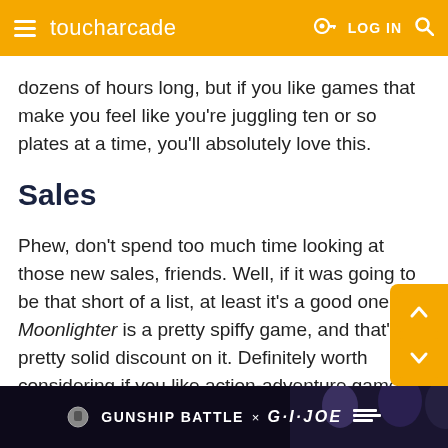toucharcade  LOG IN
dozens of hours long, but if you like games that make you feel like you're juggling ten or so plates at a time, you'll absolutely love this.
Sales
Phew, don't spend too much time looking at those new sales, friends. Well, if it was going to be that short of a list, at least it's a good one? Moonlighter is a pretty spiffy game, and that's a pretty solid discount on it. Definitely worth considering if you like action-adventure games. You may also wan check through the list of outgoing sales, as it's
[Figure (screenshot): GUNSHIP BATTLE x G.I. JOE advertisement banner at the bottom of the page]